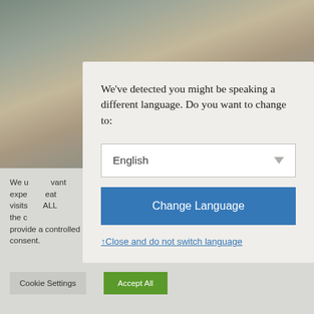[Figure (photo): Background photo of a woman outdoors, blurred, with muted earthy tones. A cookie consent notice is partially visible at the bottom.]
We've detected you might be speaking a different language. Do you want to change to:
English
Change Language
↑Close and do not switch language
We u...vant expe...eat visits...ALL the c...
provide a controlled consent.
Cookie Settings
Accept All